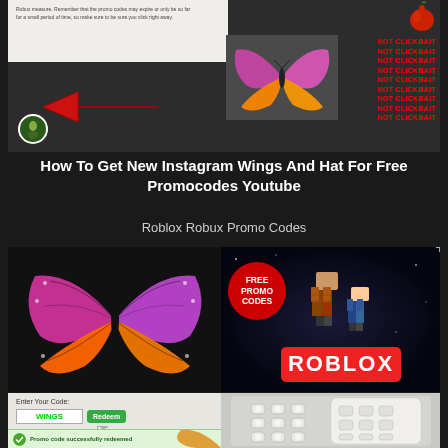[Figure (screenshot): Screenshot of a Roblox promotional page showing text about Robux, a butterfly wings item on dark background, red arrow pointing left, small character icon, and 'NOT CLICKBAIT' text repeated 9 times in red on the right side, plus a red apple icon at top right]
How To Get New Instagram Wings And Hat For Free Promocodes Youtube
Roblox Robux Promo Codes
[Figure (screenshot): Two butterfly wings items (orange-pink gradient monarch style) on black background]
[Figure (screenshot): Roblox promo codes promotional image with red FREE PROMO CODES badge circle on left and Roblox game characters with ROBLOX logo on right, dark space background]
[Figure (screenshot): Roblox code redemption interface showing 'Enter Your Code:' field with WINGS entered in green text, green Redeem button, cursor hand icon, and green success bar saying 'Promo code successfully redeemed' with butterfly wing visible]
[Figure (screenshot): White keypad or grid device with circular buttons arranged in a 3x4 grid pattern on white/light grey background]